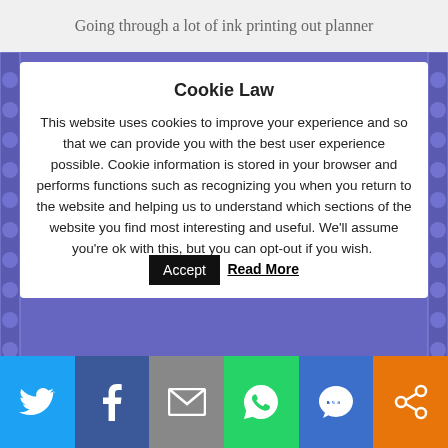Going through a lot of ink printing out planner
Cookie Law
This website uses cookies to improve your experience and so that we can provide you with the best user experience possible. Cookie information is stored in your browser and performs functions such as recognizing you when you return to the website and helping us to understand which sections of the website you find most interesting and useful. We'll assume you're ok with this, but you can opt-out if you wish.
[Figure (screenshot): Social media share bar with buttons for Twitter, Facebook, Email, WhatsApp, SMS, and ShareThis]